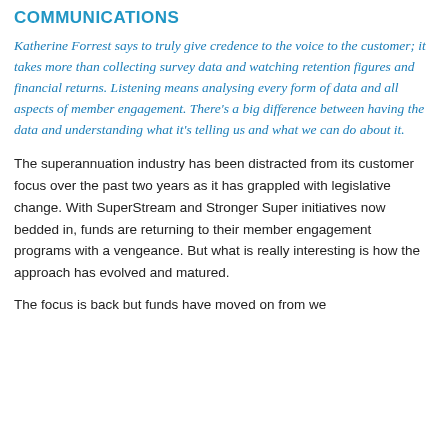COMMUNICATIONS
Katherine Forrest says to truly give credence to the voice to the customer; it takes more than collecting survey data and watching retention figures and financial returns. Listening means analysing every form of data and all aspects of member engagement. There's a big difference between having the data and understanding what it's telling us and what we can do about it.
The superannuation industry has been distracted from its customer focus over the past two years as it has grappled with legislative change. With SuperStream and Stronger Super initiatives now bedded in, funds are returning to their member engagement programs with a vengeance. But what is really interesting is how the approach has evolved and matured.
The focus is back but funds have moved on from we